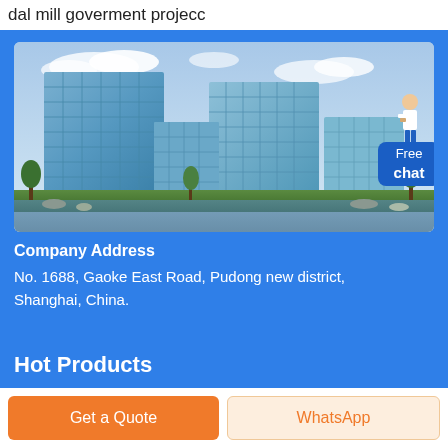dal mill goverment projecc
[Figure (photo): Architectural rendering of modern glass office buildings complex near a water feature, blue sky background. A customer service representative figure is overlaid in the bottom-right corner with a 'Free chat' speech bubble.]
Company Address
No. 1688, Gaoke East Road, Pudong new district, Shanghai, China.
Hot Products
Get a Quote
WhatsApp